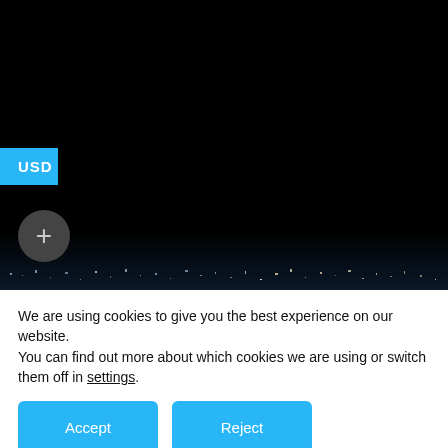[Figure (photo): Dark nighttime cityscape/skyline with faint city lights at the bottom. A blue 'USD' badge and a dark circular '+' button overlay are on the left side of the image.]
We are using cookies to give you the best experience on our website.
You can find out more about which cookies we are using or switch them off in settings.
Accept
Reject